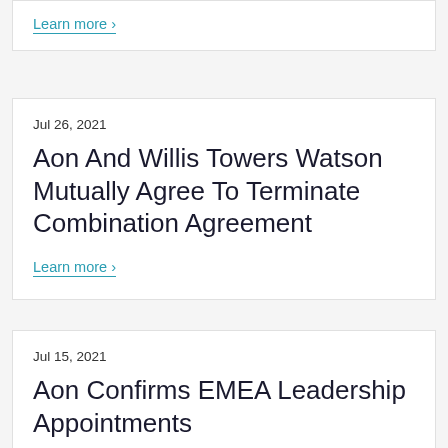Learn more
Jul 26, 2021
Aon And Willis Towers Watson Mutually Agree To Terminate Combination Agreement
Learn more
Jul 15, 2021
Aon Confirms EMEA Leadership Appointments